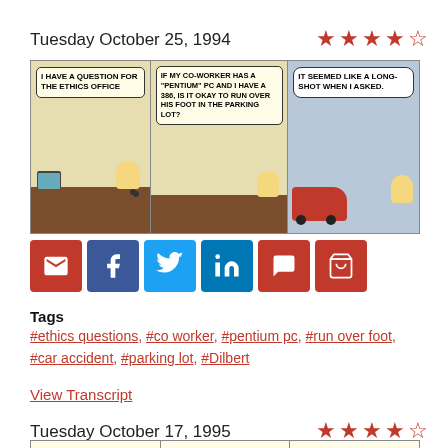Tuesday October 25, 1994
[Figure (illustration): Three-panel Dilbert comic strip. Panel 1: Dilbert at desk on phone saying 'I HAVE A QUESTION FOR THE ETHICS OFFICE'. Panel 2: Dilbert on phone asking 'IF MY CO-WORKER HAS A "PENTIUM" PC AND I HAVE A 386, IS IT OKAY TO RUN OVER HIS FOOT IN THE PARKING LOT?' Panel 3: In a car, thought bubble 'IT SEEMED LIKE A LONG-SHOT WHEN I ASKED.']
[Figure (infographic): Row of social sharing buttons: email (red), Facebook (dark blue), Twitter (blue), LinkedIn (blue), comment (red), shopping cart (red)]
Tags
#ethics questions, #co worker, #pentium pc, #run over foot, #car accident, #parking lot, #Dilbert
View Transcript
Tuesday October 17, 1995
[Figure (illustration): Three-panel Dilbert comic strip partially visible at bottom. Panel 1: 'DOGBERT, YOUR MISSION...', Panel 2: 'USE HUMOR TO EASE...', Panel 3: 'DID YOU HEAR THE JOKE...']